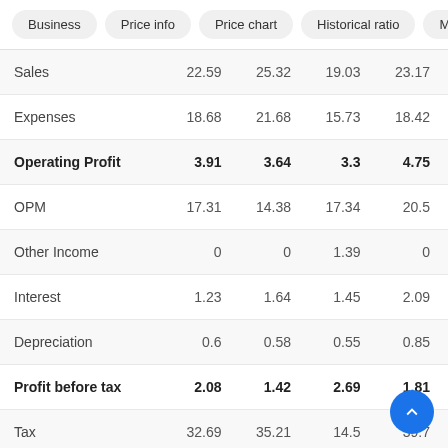Business | Price info | Price chart | Historical ratio | Marg
|  | Col1 | Col2 | Col3 | Col4 |
| --- | --- | --- | --- | --- |
| Sales | 22.59 | 25.32 | 19.03 | 23.17 |
| Expenses | 18.68 | 21.68 | 15.73 | 18.42 |
| Operating Profit | 3.91 | 3.64 | 3.3 | 4.75 |
| OPM | 17.31 | 14.38 | 17.34 | 20.5 |
| Other Income | 0 | 0 | 1.39 | 0 |
| Interest | 1.23 | 1.64 | 1.45 | 2.09 |
| Depreciation | 0.6 | 0.58 | 0.55 | 0.85 |
| Profit before tax | 2.08 | 1.42 | 2.69 | 1.81 |
| Tax | 32.69 | 35.21 | 14.5 | 39.7 |
| Net Profit | 1.4 | 0.92 | 2.3 | 1.09 |